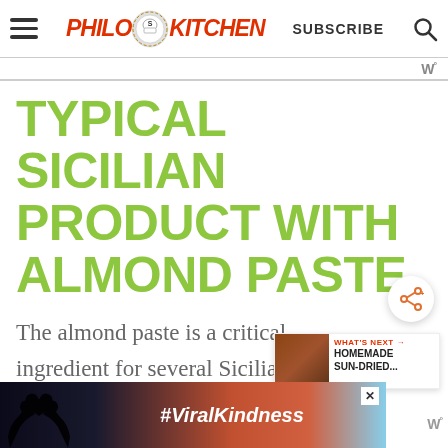PHILOS KITCHEN | SUBSCRIBE
TYPICAL SICILIAN PRODUCT WITH ALMOND PASTE
The almond paste is a critical ingredient for several Sicilian sweets and desserts.
[Figure (screenshot): Share button (orange share icon on white circle with shadow)]
[Figure (screenshot): What's Next widget: HOMEMADE SUN-DRIED... with thumbnail]
[Figure (screenshot): Ad banner at bottom with heart hands silhouette and #ViralKindness text on sunset background]